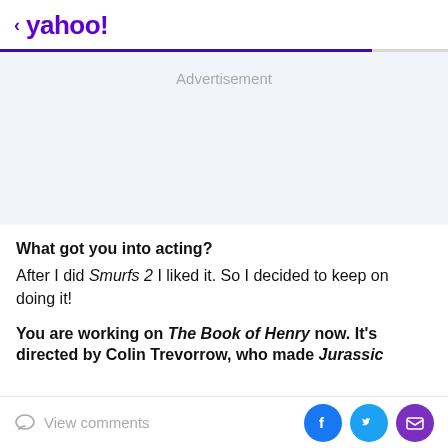< yahoo!
[Figure (other): Advertisement placeholder area with light blue-gray background]
Advertisement
What got you into acting? After I did Smurfs 2 I liked it. So I decided to keep on doing it!
You are working on The Book of Henry now. It's directed by Colin Trevorrow, who made Jurassic
View comments | Facebook | Twitter | Email